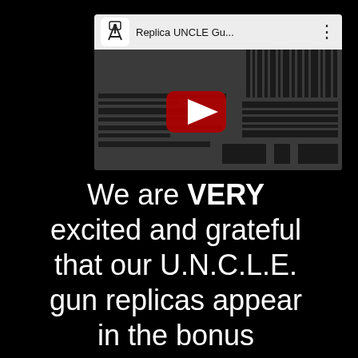[Figure (screenshot): YouTube video thumbnail showing 'Replica UNCLE Gu...' channel with a dark image of gun replica parts and a red YouTube play button overlay]
We are VERY excited and grateful that our U.N.C.L.E. gun replicas appear in the bonus material of the U.N.C.L.E. DVD set below. We strive to bring you the best